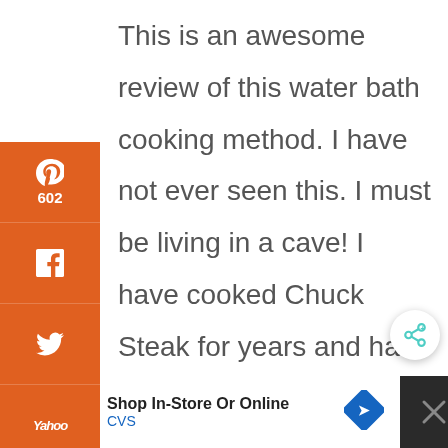[Figure (screenshot): Social share sidebar with Pinterest (602), Facebook, Twitter, Yahoo, Email, and Print buttons in orange, plus 602 SHARES count below]
This is an awesome review of this water bath cooking method. I have not ever seen this. I must be living in a cave! I have cooked Chuck Steak for years and had great dinners with steaks cut at 2 inches thick. As for the chuck
[Figure (screenshot): CVS Pharmacy advertisement banner: Shop In-Store Or Online, CVS logo, blue navigation arrow sign]
[Figure (screenshot): Floating share button (circular) with share icon]